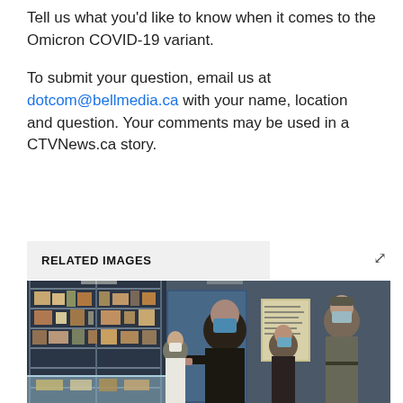Tell us what you'd like to know when it comes to the Omicron COVID-19 variant.
To submit your question, email us at dotcom@bellmedia.ca with your name, location and question. Your comments may be used in a CTVNews.ca story.
RELATED IMAGES
[Figure (photo): People wearing face masks inside what appears to be a pharmacy or store with shelves of products. A person in a black outfit and mask stands at a glass display counter. A military officer in uniform stands to the right. Other masked individuals are visible in the background.]